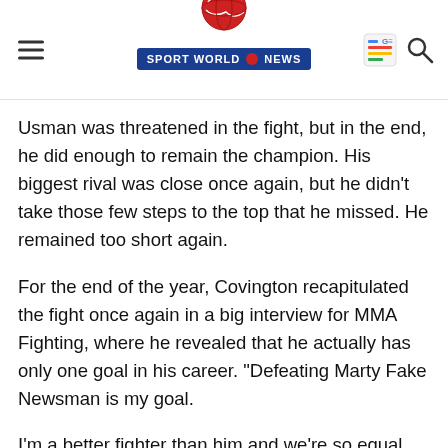SPORT WORLD NEWS
Usman was threatened in the fight, but in the end, he did enough to remain the champion. His biggest rival was close once again, but he didn't take those few steps to the top that he missed. He remained too short again.
For the end of the year, Covington recapitulated the fight once again in a big interview for MMA Fighting, where he revealed that he actually has only one goal in his career. "Defeating Marty Fake Newsman is my goal.
I'm a better fighter than him and we're so equal that it's something that should be decided like a